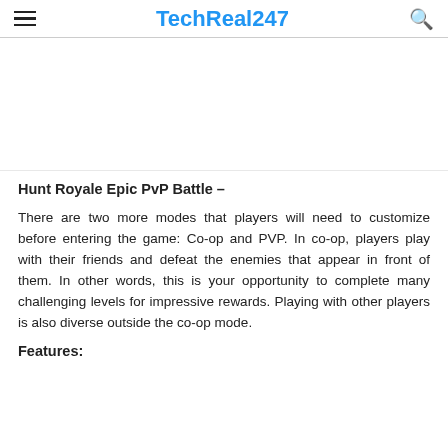TechReal247
[Figure (other): Advertisement placeholder area (blank white space)]
Hunt Royale Epic PvP Battle –
There are two more modes that players will need to customize before entering the game: Co-op and PVP. In co-op, players play with their friends and defeat the enemies that appear in front of them. In other words, this is your opportunity to complete many challenging levels for impressive rewards. Playing with other players is also diverse outside the co-op mode.
Features: